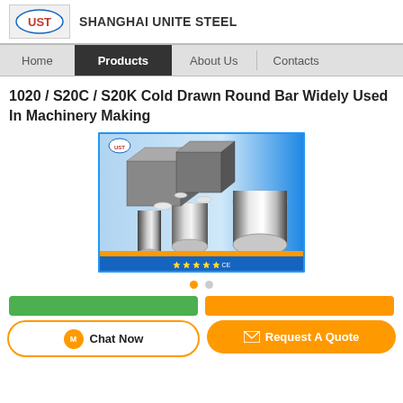SHANGHAI UNITE STEEL
Home | Products | About Us | Contacts
1020 / S20C / S20K Cold Drawn Round Bar Widely Used In Machinery Making
[Figure (photo): Photo of various polished steel round bars and steel sections arranged together, with certification logos at the bottom (CE mark and other quality certifications). Shanghai Unite Steel product image.]
Chat Now
Request A Quote